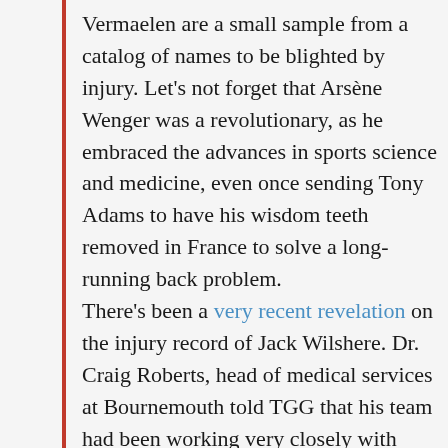Vermaelen are a small sample from a catalog of names to be blighted by injury. Let's not forget that Arsène Wenger was a revolutionary, as he embraced the advances in sports science and medicine, even once sending Tony Adams to have his wisdom teeth removed in France to solve a long-running back problem. There's been a very recent revelation on the injury record of Jack Wilshere. Dr. Craig Roberts, head of medical services at Bournemouth told TGG that his team had been working very closely with Arsenal in order to reduce his risk of injury. In fact, since joining Bournemouth, Wilshere has been injury free barring an ankle strain